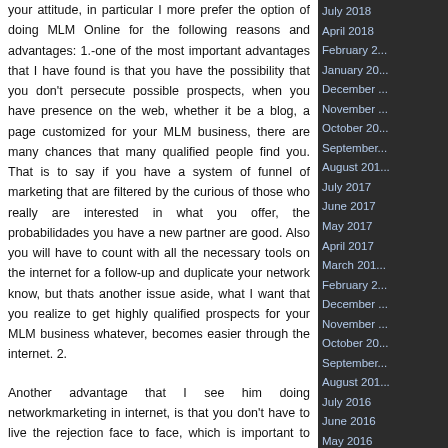your attitude, in particular I more prefer the option of doing MLM Online for the following reasons and advantages: 1.-one of the most important advantages that I have found is that you have the possibility that you don't persecute possible prospects, when you have presence on the web, whether it be a blog, a page customized for your MLM business, there are many chances that many qualified people find you. That is to say if you have a system of funnel of marketing that are filtered by the curious of those who really are interested in what you offer, the probabilidades you have a new partner are good. Also you will have to count with all the necessary tools on the internet for a follow-up and duplicate your network know, but thats another issue aside, what I want that you realize to get highly qualified prospects for your MLM business whatever, becomes easier through the internet. 2.
Another advantage that I see him doing networkmarketing in internet, is that you don't have to live the rejection face to face, which is important to avoid that you start to discourage you as soon in what you're doing, equally as I described in the previous point, by having a marketing funnel where removes stakeholders from prying eyes, you can avoid that they tell you do not interest me. Sew many possibilities than if tell you how there in face-to-face network marketing, for the motivation that they check the business, that to say what that
July 2018
April 2018
February 2...
January 20...
December ...
November ...
October 20...
September...
August 201...
July 2017
June 2017
May 2017
April 2017
March 201...
February 2...
December ...
November ...
October 20...
September...
August 201...
July 2016
June 2016
May 2016
April 2016
March 201...
November ...
October 20...
September...
August 201...
December ...
September...
August 201...
July 2014
June 2014
May 2014